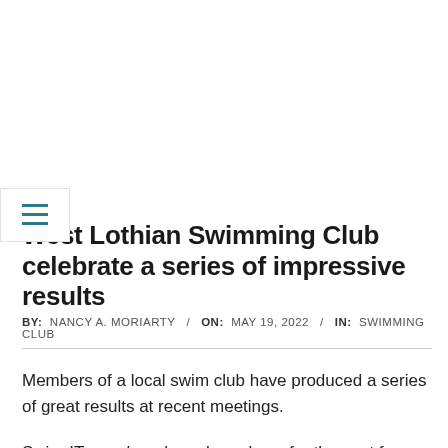West Lothian Swimming Club celebrate a series of impressive results
BY:  NANCY A. MORIARTY  /  ON:  MAY 19, 2022  /  IN:  SWIMMING CLUB
Members of a local swim club have produced a series of great results at recent meetings.
Swim-IT members have been busy for the past few weeks competing in events across the country with head coach Fiona Donald praising the swimmers.
Mia MacLeod has wasted no time returning to the sport since suffering a knee injury in November as she has been attending